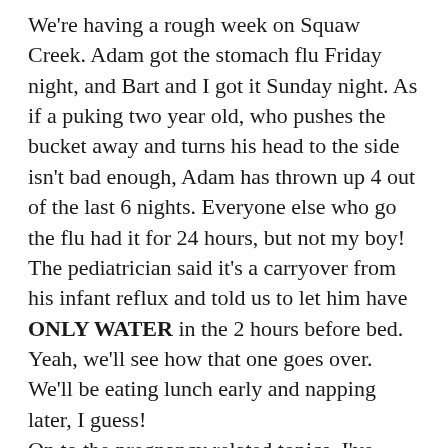We're having a rough week on Squaw Creek. Adam got the stomach flu Friday night, and Bart and I got it Sunday night. As if a puking two year old, who pushes the bucket away and turns his head to the side isn't bad enough, Adam has thrown up 4 out of the last 6 nights. Everyone else who go the flu had it for 24 hours, but not my boy! The pediatrician said it's a carryover from his infant reflux and told us to let him have ONLY WATER in the 2 hours before bed. Yeah, we'll see how that one goes over. We'll be eating lunch early and napping later, I guess! On to the pregnancy related topics, I've been wanting to post about this for a while now: Weird Things that Happen to your Body While Pregnant (such a creative title, I know.) For me, it's worse this time around. I do not have